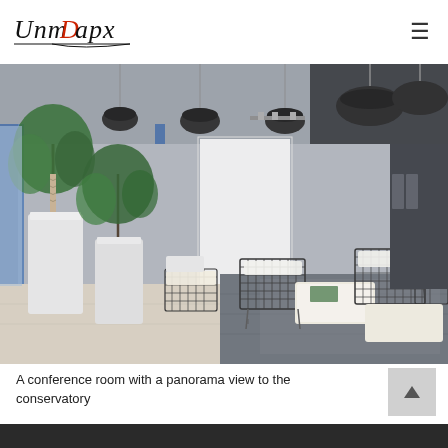UnmDapx [logo with navigation hamburger menu]
[Figure (photo): Interior of a modern conference/lounge room with tall white rectangular planters holding large tropical plants on the left, dark pendant lights hanging from ceiling, a white projection screen or partition in the background, and wire-frame lounge chairs with white cushions and ottomans arranged on a dark tiled floor area. Blue structural columns visible on the left side. Large windows provide natural light.]
A conference room with a panorama view to the conservatory